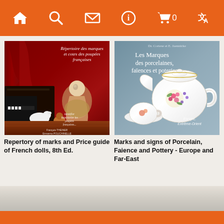[Figure (screenshot): Orange navigation bar with home, search, mail, info, cart (0), and translate icons in white on orange background]
[Figure (photo): Book cover: Répertoire des marques et cotes des poupées françaises - showing antique French dolls scene with red curtain background]
Repertory of marks and Price guide of French dolls, 8th Ed.
[Figure (photo): Book cover: Les Marques des porcelaines, faïences et poteries - showing white porcelain teapot and cup with floral decoration, Europe Extrême-Orient]
Marks and signs of Porcelain, Faience and Pottery - Europe and Far-East